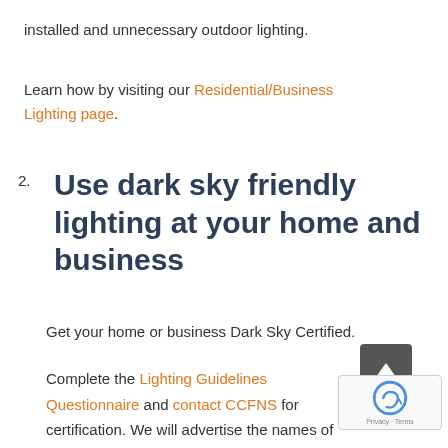installed and unnecessary outdoor lighting.
Learn how by visiting our Residential/Business Lighting page.
2. Use dark sky friendly lighting at your home and business
Get your home or business Dark Sky Certified.
Complete the Lighting Guidelines Questionnaire and contact CCFNS for certification. We will advertise the names of businesses that are dark sky certified on our website.  When updating your lighting, look for